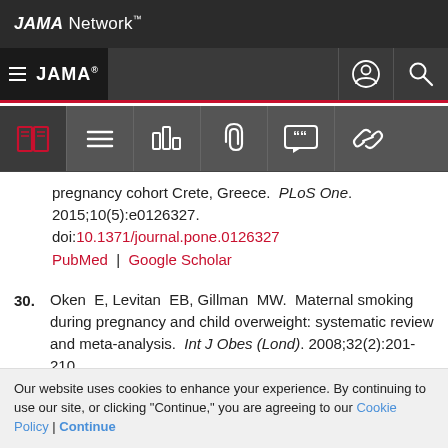JAMA Network
JAMA
pregnancy cohort Crete, Greece. PLoS One. 2015;10(5):e0126327. doi:10.1371/journal.pone.0126327 PubMed | Google Scholar
30. Oken E, Levitan EB, Gillman MW. Maternal smoking during pregnancy and child overweight: systematic review and meta-analysis. Int J Obes (Lond). 2008;32(2):201-210.
Our website uses cookies to enhance your experience. By continuing to use our site, or clicking "Continue," you are agreeing to our Cookie Policy | Continue